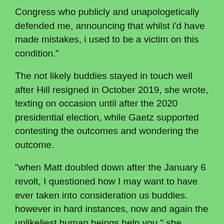Congress who publicly and unapologetically defended me, announcing that whilst i'd have made mistakes, i used to be a victim on this condition."
The not likely buddies stayed in touch well after Hill resigned in October 2019, she wrote, texting on occasion until after the 2020 presidential election, while Gaetz supported contesting the outcomes and wondering the outcome.
“when Matt doubled down after the January 6 revolt, I questioned how I may want to have ever taken into consideration us buddies. however in hard instances, now and again the unlikeliest human beings help you,” she wrote.
Hill then pivoted to the allegations presently facing Gaetz.